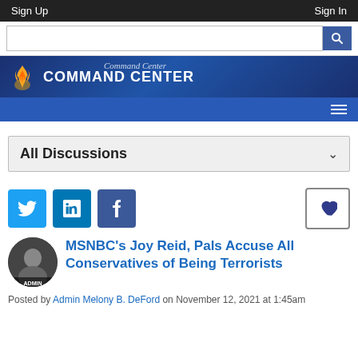Sign Up   Sign In
[Figure (screenshot): Command Center website banner with logo and navigation]
All Discussions
[Figure (infographic): Social share buttons: Twitter, LinkedIn, Facebook and a heart/like button]
MSNBC's Joy Reid, Pals Accuse All Conservatives of Being Terrorists
Posted by Admin Melony B. DeFord on November 12, 2021 at 1:45am